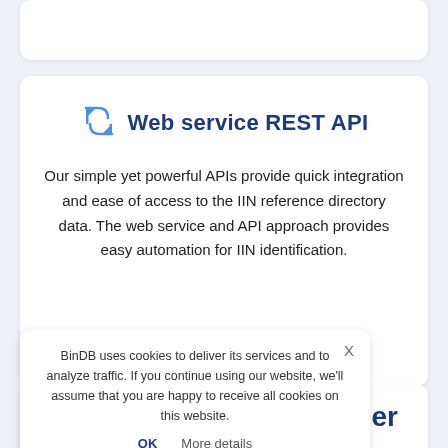Web service REST API
Our simple yet powerful APIs provide quick integration and ease of access to the IIN reference directory data. The web service and API approach provides easy automation for IIN identification.
BinDB uses cookies to deliver its services and to analyze traffic. If you continue using our website, we'll assume that you are happy to receive all cookies on this website.
OK   More details
ntifier